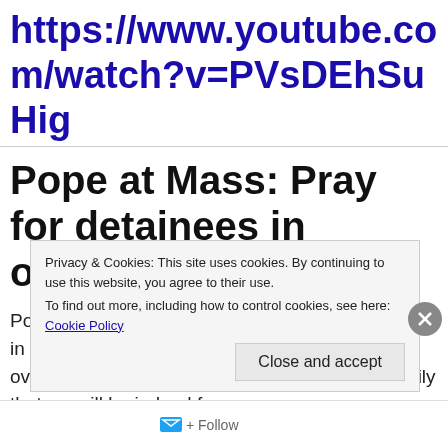https://www.youtube.com/watch?v=PVsDEhSuHig
Pope at Mass: Pray for detainees in overcrowded prisons
Pope Francis offers his Mass on Monday morning in the Casa Santa Marta for detainees in overcrowded prisons, and reminds us in his homily that we will be judged for
Privacy & Cookies: This site uses cookies. By continuing to use this website, you agree to their use.
To find out more, including how to control cookies, see here: Cookie Policy
Close and accept